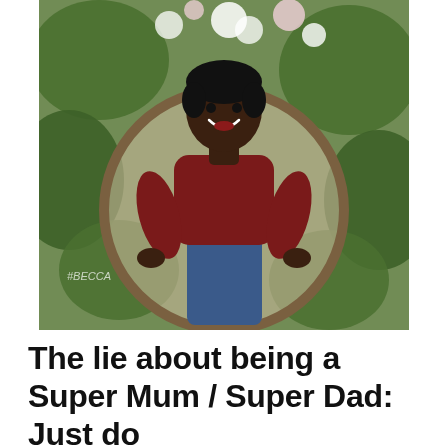[Figure (photo): A smiling woman with short dark hair wearing a dark red/maroon cold-shoulder sweater and blue jeans, seated in a round hanging egg chair surrounded by a lush green floral wall with white and pink flowers. Text '#BECCA' is visible in the lower left of the image.]
The lie about being a Super Mum / Super Dad: Just do